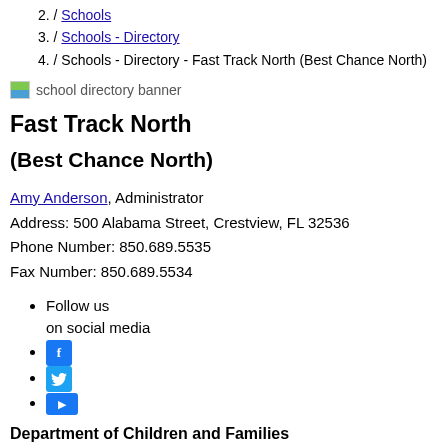2. / Schools
3. / Schools - Directory
4. / Schools - Directory - Fast Track North (Best Chance North)
[Figure (illustration): school directory banner image]
Fast Track North
(Best Chance North)
Amy Anderson, Administrator
Address: 500 Alabama Street, Crestview, FL 32536
Phone Number: 850.689.5535
Fax Number: 850.689.5534
Follow us on social media
Facebook icon
Twitter icon
YouTube icon
Department of Children and Families